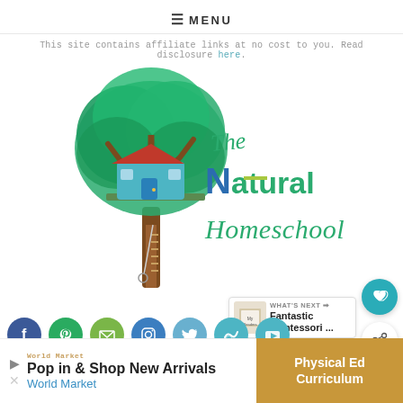≡ MENU
This site contains affiliate links at no cost to you. Read disclosure here.
[Figure (logo): The Natural Homeschool logo — a treehouse illustration with teal and blue hand-lettered text reading 'The Natural Homeschool']
[Figure (infographic): Row of social media icon circles: Facebook, Pinterest, Email, Instagram, Twitter, Mix, YouTube]
[Figure (infographic): What's Next panel showing 'Fantastic Montessori ...' with a book thumbnail]
Pop in & Shop New Arrivals
World Market
Physical Ed Curriculum